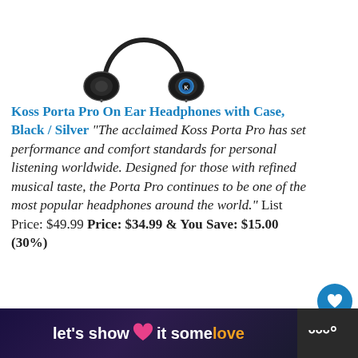[Figure (photo): Koss Porta Pro headphones product photo, black and silver, viewed from front]
Koss Porta Pro On Ear Headphones with Case, Black / Silver “The acclaimed Koss Porta Pro has set performance and comfort standards for personal listening worldwide. Designed for those with refined musical taste, the Porta Pro continues to be one of the most popular headphones around the world.” List Price: $49.99 Price: $34.99 & You Save: $15.00 (30%)
ADVERTISEMENT
[Figure (screenshot): What's Next panel: The Best Audio And H... with thumbnail image and blue progress bar]
[Figure (infographic): Bottom advertisement bar: let’s show it some love with heart icon, on dark background, Tidal logo on right]